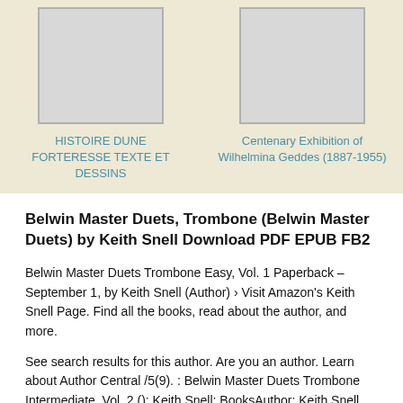[Figure (illustration): Book cover placeholder for HISTOIRE DUNE FORTERESSE TEXTE ET DESSINS — grey rectangle]
HISTOIRE DUNE FORTERESSE TEXTE ET DESSINS
[Figure (illustration): Book cover placeholder for Centenary Exhibition of Wilhelmina Geddes (1887-1955) — grey rectangle]
Centenary Exhibition of Wilhelmina Geddes (1887-1955)
Belwin Master Duets, Trombone (Belwin Master Duets) by Keith Snell Download PDF EPUB FB2
Belwin Master Duets Trombone Easy, Vol. 1 Paperback – September 1, by Keith Snell (Author) › Visit Amazon's Keith Snell Page. Find all the books, read about the author, and more.
See search results for this author. Are you an author. Learn about Author Central /5(9). : Belwin Master Duets Trombone Intermediate, Vol. 2 (): Keith Snell: BooksAuthor: Keith Snell.